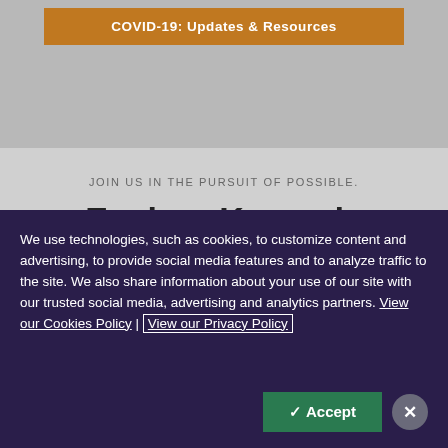COVID-19: Updates & Resources
JOIN US IN THE PURSUIT OF POSSIBLE.
Explore Kennedy Krieger Institute
[Figure (photo): Two people photographed in a horizontal strip below the title section]
We use technologies, such as cookies, to customize content and advertising, to provide social media features and to analyze traffic to the site. We also share information about your use of our site with our trusted social media, advertising and analytics partners. View our Cookies Policy | View our Privacy Policy
✓ Accept